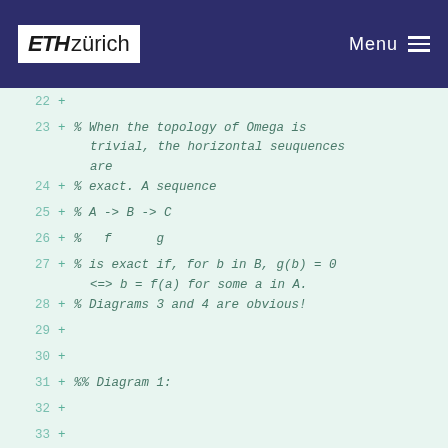ETH zürich | Menu
Code diff view showing lines 22-38 of a MATLAB/Octave script with comments about topology, exact sequences, and diagram construction code.